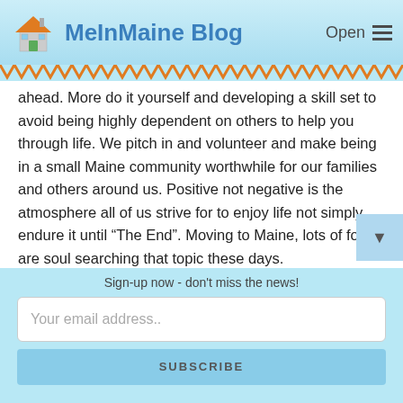MeInMaine Blog
ahead. More do it yourself and developing a skill set to avoid being highly dependent on others to help you through life. We pitch in and volunteer and make being in a small Maine community worthwhile for our families and others around us. Positive not negative is the atmosphere all of us strive for to enjoy life not simply endure it until “The End”. Moving to Maine, lots of folks are soul searching that topic these days.
Pure and natural is big attraction and major positive change for many who have gone without it for far too long. But what we don’t have, that long list of what you don’t want all adds into
Sign-up now - don't miss the news!
Your email address..
SUBSCRIBE